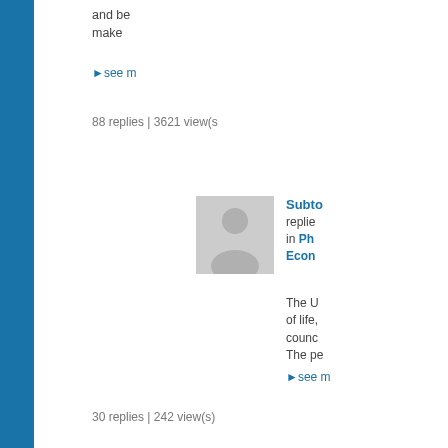and be... make...
▸see m...
88 replies | 3621 view(s)
[Figure (illustration): User avatar placeholder silhouette, gray background with person icon]
Subto... replied... in Ph... Econ...
The U... of life,... counc... The pe...
▸see m...
30 replies | 242 view(s)
[Figure (illustration): User avatar placeholder silhouette, gray background with person icon]
Subte... replied... in Ph... Econ...